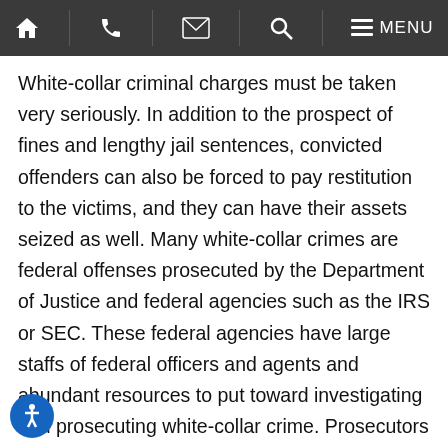Home | Phone | Email | Search | Menu
White-collar criminal charges must be taken very seriously. In addition to the prospect of fines and lengthy jail sentences, convicted offenders can also be forced to pay restitution to the victims, and they can have their assets seized as well. Many white-collar crimes are federal offenses prosecuted by the Department of Justice and federal agencies such as the IRS or SEC. These federal agencies have large staffs of federal officers and agents and abundant resources to put toward investigating and prosecuting white-collar crime. Prosecutors often seek the maximum penalty to make an example of the defendant and make a name for themselves, and federal sentencing guidelines for white-collar crimes include stiff penalties.